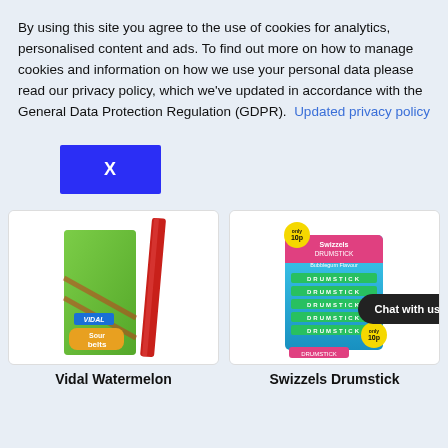By using this site you agree to the use of cookies for analytics, personalised content and ads. To find out more on how to manage cookies and information on how we use your personal data please read our privacy policy, which we've updated in accordance with the General Data Protection Regulation (GDPR).  Updated privacy policy
[Figure (other): Blue dismiss button with white X]
[Figure (photo): Vidal Watermelon Sour Belts product box with stick candies]
[Figure (photo): Swizzels Drumstick bubblegum flavour candy bars box with 10p price badges]
Vidal Watermelon
Swizzels Drumstick